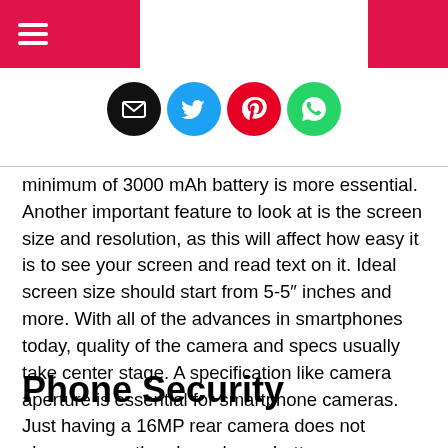Navigation header with hamburger menu and social share icons
[Figure (infographic): Row of four social media share buttons: email (black circle), Twitter (blue circle), Pinterest (red circle), WhatsApp (green circle)]
minimum of 3000 mAh battery is more essential. Another important feature to look at is the screen size and resolution, as this will affect how easy it is to see your screen and read text on it. Ideal screen size should start from 5-5″ inches and more. With all of the advances in smartphones today, quality of the camera and specs usually take center stage. A specification like camera aperture is essential for smartphone cameras. Just having a 16MP rear camera does not always mean the phone has a better camera. Several specifications such as aperture, ISO levels, pixel size, and autofocus have to be taken into account for a great photo.
Phone Security
The security...